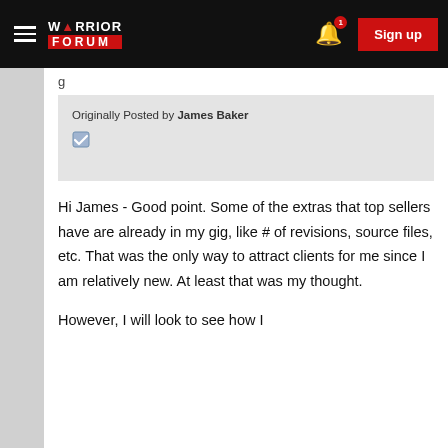Warrior Forum — Sign up
g
Originally Posted by James Baker [checkbox icon]
Hi James - Good point. Some of the extras that top sellers have are already in my gig, like # of revisions, source files, etc. That was the only way to attract clients for me since I am relatively new. At least that was my thought.
However, I will look to see how I